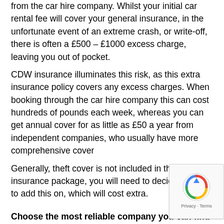from the car hire company. Whilst your initial car rental fee will cover your general insurance, in the unfortunate event of an extreme crash, or write-off, there is often a £500 – £1000 excess charge, leaving you out of pocket.
CDW insurance illuminates this risk, as this extra insurance policy covers any excess charges. When booking through the car hire company this can cost hundreds of pounds each week, whereas you can get annual cover for as little as £50 a year from independent companies, who usually have more comprehensive cover
Generally, theft cover is not included in the standard insurance package, you will need to decide whether to add this on, which will cost extra.
Choose the most reliable company you can find